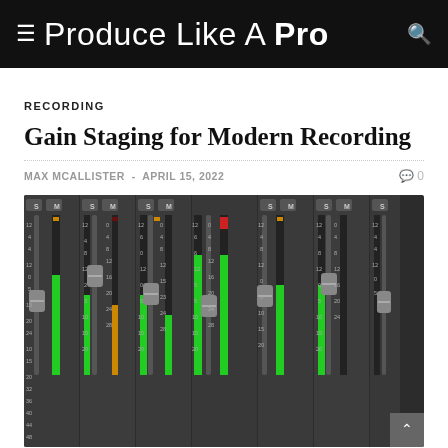≡ Produce Like A Pro 🔍
RECORDING
Gain Staging for Modern Recording
MAX MCALLISTER  -  APRIL 15, 2022    💬 0
[Figure (photo): Screenshot of a DAW mixer showing multiple channel faders with green and red level meters at various positions, representing gain staging in a digital audio workstation.]